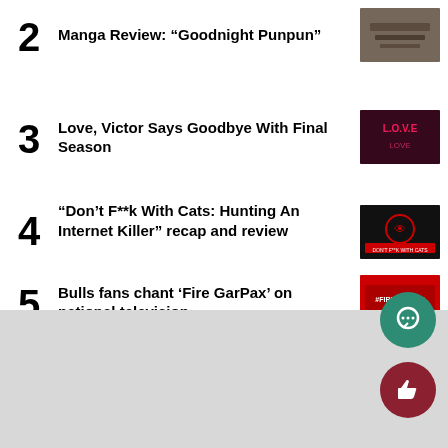2 Manga Review: “Goodnight Punpun”
3 Love, Victor Says Goodbye With Final Season
4 “Don’t F**k With Cats: Hunting An Internet Killer” recap and review
5 Bulls fans chant ‘Fire GarPax’ on national television
[Figure (illustration): Teal chat bubble icon button]
[Figure (illustration): Dark red thumbs up icon button]